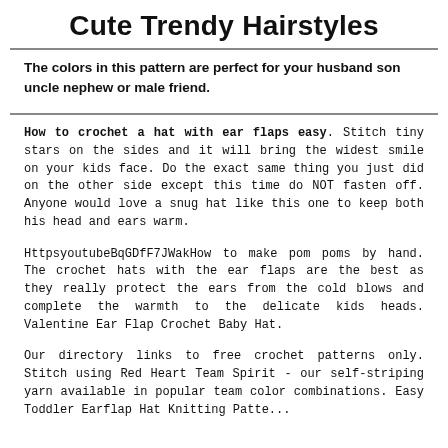Cute Trendy Hairstyles
The colors in this pattern are perfect for your husband son uncle nephew or male friend.
How to crochet a hat with ear flaps easy. Stitch tiny stars on the sides and it will bring the widest smile on your kids face. Do the exact same thing you just did on the other side except this time do NOT fasten off. Anyone would love a snug hat like this one to keep both his head and ears warm.
HttpsyoutubeBqGDfF7JWakHow to make pom poms by hand. The crochet hats with the ear flaps are the best as they really protect the ears from the cold blows and complete the warmth to the delicate kids heads. Valentine Ear Flap Crochet Baby Hat.
Our directory links to free crochet patterns only. Stitch using Red Heart Team Spirit - our self-striping yarn available in popular team color combinations. Easy Toddler Earflap Hat Knitting Patte...